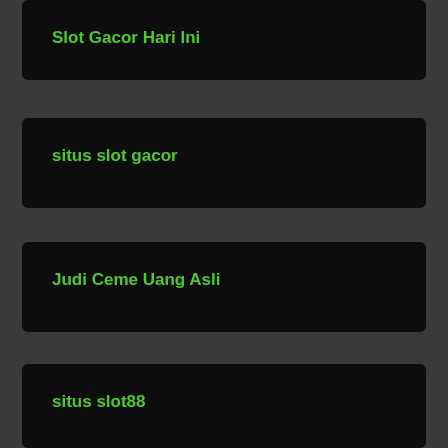Slot Gacor Hari Ini
situs slot gacor
Judi Ceme Uang Asli
situs slot88